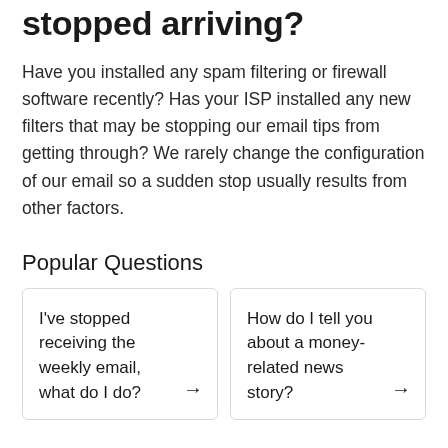stopped arriving?
Have you installed any spam filtering or firewall software recently? Has your ISP installed any new filters that may be stopping our email tips from getting through? We rarely change the configuration of our email so a sudden stop usually results from other factors.
Popular Questions
I've stopped receiving the weekly email, what do I do?
How do I tell you about a money-related news story?